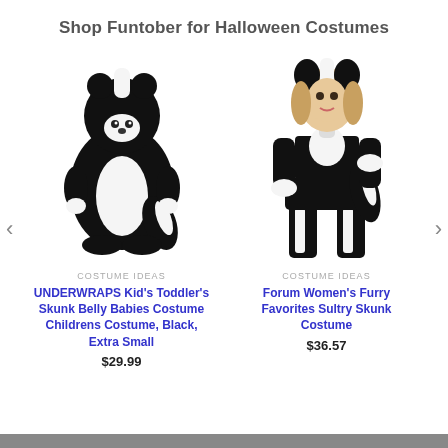Shop Funtober for Halloween Costumes
[Figure (photo): Toddler wearing black and white skunk plush costume with hood]
COSTUME IDEAS
UNDERWRAPS Kid's Toddler's Skunk Belly Babies Costume Childrens Costume, Black, Extra Small
$29.99
[Figure (photo): Woman wearing black and white sexy furry skunk costume with tail and leg warmers]
COSTUME IDEAS
Forum Women's Furry Favorites Sultry Skunk Costume
$36.57